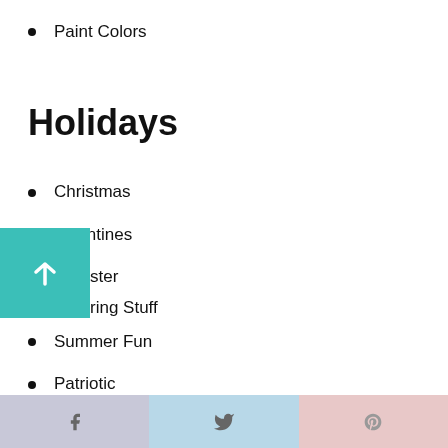Paint Colors
Holidays
Christmas
Valentines
Easter
Spring Stuff
Summer Fun
Patriotic
Halloween
Thanksgiving
f  t  p